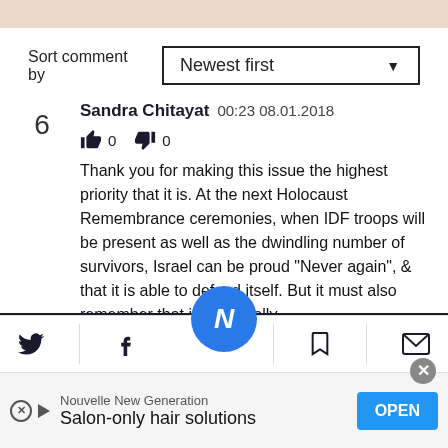Sort comment by  Newest first
6  Sandra Chitayat  00:23 08.01.2018
👍 0  👎 0
Thank you for making this issue the highest priority that it is. At the next Holocaust Remembrance ceremonies, when IDF troops will be present as well as the dwindling number of survivors, Israel can be proud "Never again", & that it is able to defend itself. But it must also remember that it is cynically
Nouvelle New Generation
Salon-only hair solutions
OPEN